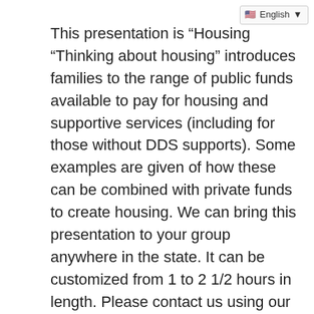[Figure (screenshot): Language selector widget showing a US flag and 'English' label with a dropdown arrow]
This presentation is “Housing …” “Thinking about housing” introduces families to the range of public funds available to pay for housing and supportive services (including for those without DDS supports). Some examples are given of how these can be combined with private funds to create housing. We can bring this presentation to your group anywhere in the state. It can be customized from 1 to 2 1/2 hours in length. Please contact us using our contact form, by email at AHPhousing@comcast.net, or by calling 617-893-8217. More information is available here.
The presentation schedule appears in the calendar section of this website.